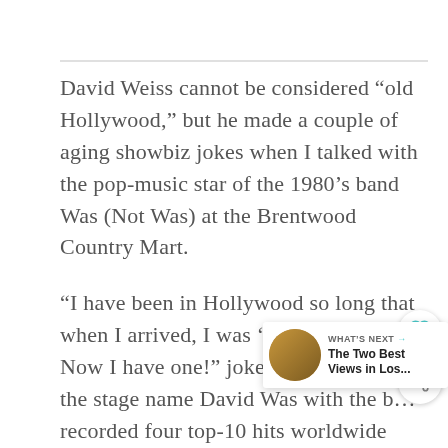David Weiss cannot be considered “old Hollywood,” but he made a couple of aging showbiz jokes when I talked with the pop-music star of the 1980’s band Was (Not Was) at the Brentwood Country Mart.
“I have been in Hollywood so long that when I arrived, I was ‘artificially hip.’ Now I have one!” joked Weiss, who has the stage name David Was with the b… recorded four top-10 hits worldwide such